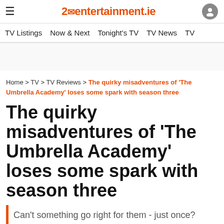≡   2entertainment.ie   [user icon]
TV Listings   Now & Next   Tonight's TV   TV News   TV
Home > TV > TV Reviews > The quirky misadventures of 'The Umbrella Academy' loses some spark with season three
The quirky misadventures of 'The Umbrella Academy' loses some spark with season three
Can't something go right for them - just once?
[Figure (screenshot): Video thumbnail with dark background and teal/green vertical light bars, showing title text: 'The Umbrella Academy Season Three - Officia...']